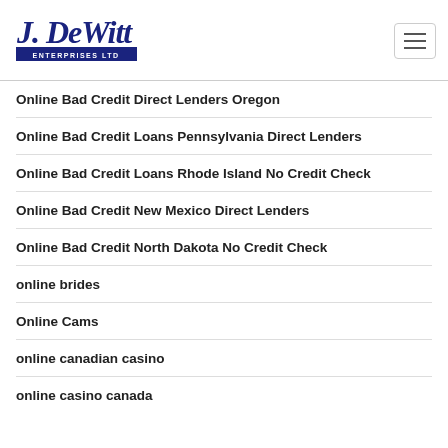J. DeWitt Enterprises Ltd
Online Bad Credit Direct Lenders Oregon
Online Bad Credit Loans Pennsylvania Direct Lenders
Online Bad Credit Loans Rhode Island No Credit Check
Online Bad Credit New Mexico Direct Lenders
Online Bad Credit North Dakota No Credit Check
online brides
Online Cams
online canadian casino
online casino canada